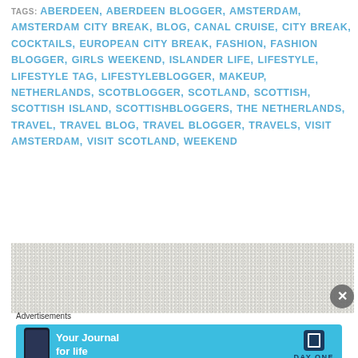TAGS: ABERDEEN, ABERDEEN BLOGGER, AMSTERDAM, AMSTERDAM CITY BREAK, BLOG, CANAL CRUISE, CITY BREAK, COCKTAILS, EUROPEAN CITY BREAK, FASHION, FASHION BLOGGER, GIRLS WEEKEND, ISLANDER LIFE, LIFESTYLE, LIFESTYLE TAG, LIFESTYLEBLOGGER, MAKEUP, NETHERLANDS, SCOTBLOGGER, SCOTLAND, SCOTTISH, SCOTTISH ISLAND, SCOTTISHBLOGGERS, THE NETHERLANDS, TRAVEL, TRAVEL BLOG, TRAVEL BLOGGER, TRAVELS, VISIT AMSTERDAM, VISIT SCOTLAND, WEEKEND
[Figure (photo): Textured grey surface photo, partially visible]
Advertisements
[Figure (screenshot): Advertisement banner: Your Journal for life - Day One app ad with phone mockup on blue background]